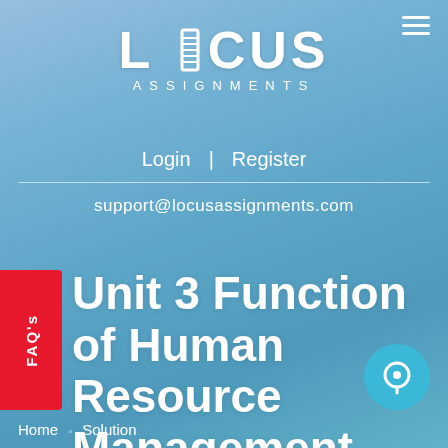[Figure (logo): Locus Assignments logo — white text LOCUS in large bold letters with ASSIGNMENTS in spaced capitals below, on a blue blurred background]
Login  |  Register
support@locusassignments.com
Unit 3 Function of Human Resource Management Assignment
FAQ's
Home  ◦  Solution